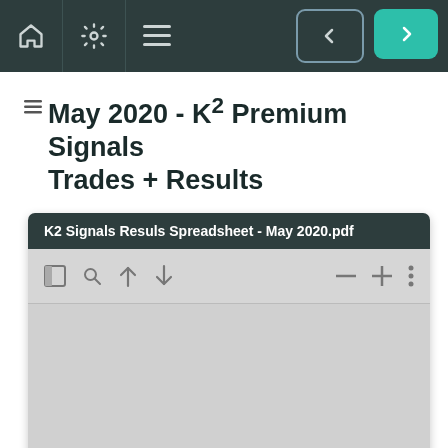Navigation bar with home, settings, menu icons and prev/next buttons
May 2020 - K² Premium Signals Trades + Results
[Figure (screenshot): PDF viewer screenshot showing K2 Signals Resuls Spreadsheet - May 2020.pdf with toolbar icons (panel, search, up, down, zoom out, zoom in, more) and a grey empty document area]